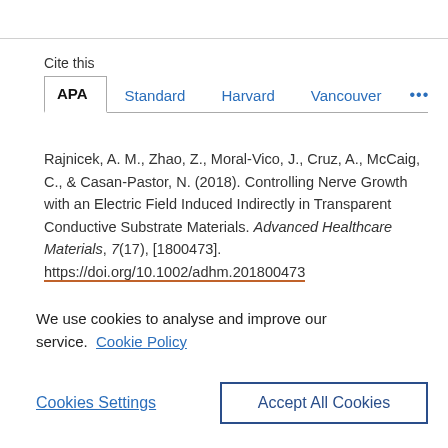Cite this
APA  Standard  Harvard  Vancouver  ...
Rajnicek, A. M., Zhao, Z., Moral-Vico, J., Cruz, A., McCaig, C., & Casan-Pastor, N. (2018). Controlling Nerve Growth with an Electric Field Induced Indirectly in Transparent Conductive Substrate Materials. Advanced Healthcare Materials, 7(17), [1800473]. https://doi.org/10.1002/adhm.201800473
We use cookies to analyse and improve our service. Cookie Policy
Cookies Settings
Accept All Cookies